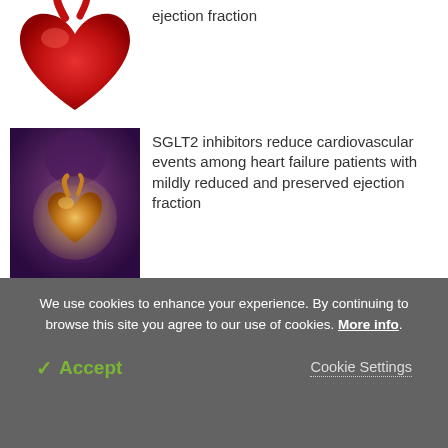[Figure (photo): Medical illustration of a human heart, partially cropped at top]
ejection fraction
[Figure (photo): Medical illustration of a heart inside a human torso, glowing effect]
SGLT2 inhibitors reduce cardiovascular events among heart failure patients with mildly reduced and preserved ejection fraction
[Figure (photo): Microscopic view of skin microbes - blue spherical and green rod-shaped bacteria]
A leather-based in vitro model for determining the effect of cosmetics on skin microbes
We use cookies to enhance your experience. By continuing to browse this site you agree to our use of cookies. More info.
✓ Accept
Cookie Settings